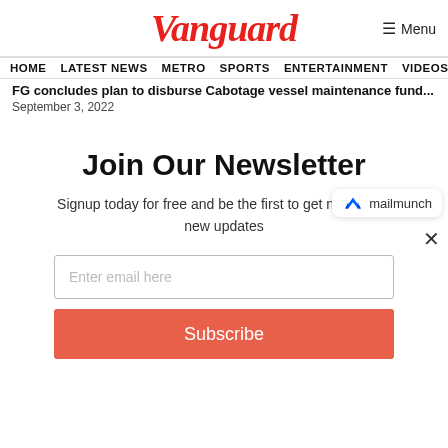Vanguard
HOME  LATEST NEWS  METRO  SPORTS  ENTERTAINMENT  VIDEOS
FG concludes plan to disburse Cabotage vessel maintenance fund
September 3, 2022
[Figure (logo): Mailmunch logo badge with blue M icon and text 'mailmunch']
Join Our Newsletter
Signup today for free and be the first to get notified on new updates
Enter email here
Subscribe